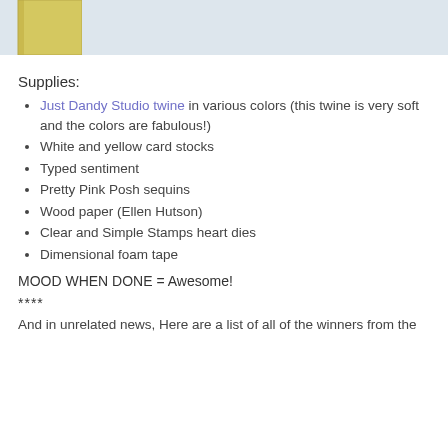[Figure (photo): Partial cropped photo showing a gold/yellow frame on the left edge and a light blue-gray background, appearing to be a decorative frame or mirror corner.]
Supplies:
Just Dandy Studio twine in various colors (this twine is very soft and the colors are fabulous!)
White and yellow card stocks
Typed sentiment
Pretty Pink Posh sequins
Wood paper (Ellen Hutson)
Clear and Simple Stamps heart dies
Dimensional foam tape
MOOD WHEN DONE = Awesome!
****
And in unrelated news, Here are a list of all of the winners from the